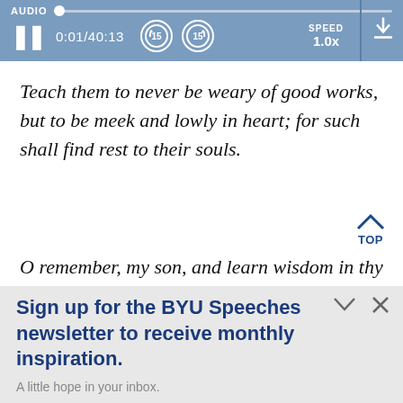[Figure (screenshot): Audio player bar with progress track, pause button, time display 0:01/40:13, skip back and forward 15s buttons, speed 1.0x, and download icon]
Teach them to never be weary of good works, but to be meek and lowly in heart; for such shall find rest to their souls.
O remember, my son, and learn wisdom in thy
Sign up for the BYU Speeches newsletter to receive monthly inspiration.
A little hope in your inbox.
Enter your email
SUBSCRIBE